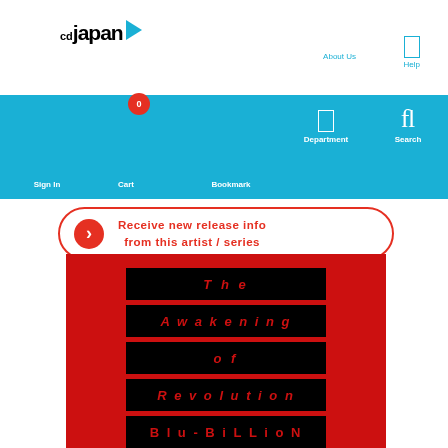CDJapan
[Figure (screenshot): CDJapan website navigation bar with logo, About Us, Help, Sign In, Cart (0), Bookmark, Department, Search links]
[Figure (infographic): Red bordered notification button: Receive new release info from this artist/series]
[Figure (other): Album cover on red background showing title blocks: The Awakening of Revolution Blu-BiLLioN]